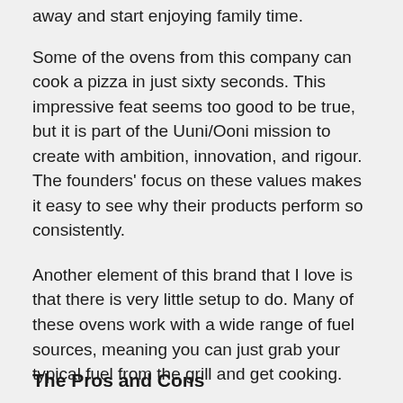away and start enjoying family time.
Some of the ovens from this company can cook a pizza in just sixty seconds. This impressive feat seems too good to be true, but it is part of the Uuni/Ooni mission to create with ambition, innovation, and rigour. The founders' focus on these values makes it easy to see why their products perform so consistently.
Another element of this brand that I love is that there is very little setup to do. Many of these ovens work with a wide range of fuel sources, meaning you can just grab your typical fuel from the grill and get cooking.
The Pros and Cons